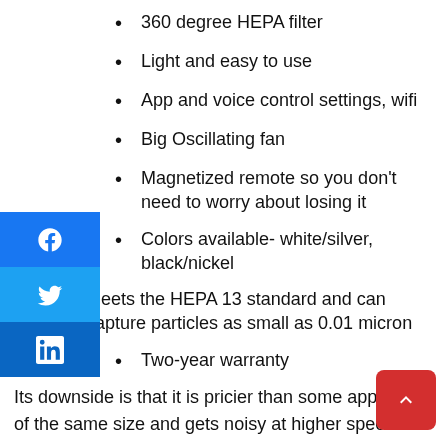360 degree HEPA filter
Light and easy to use
App and voice control settings, wifi
Big Oscillating fan
Magnetized remote so you don't need to worry about losing it
Colors available- white/silver, black/nickel
Meets the HEPA 13 standard and can capture particles as small as 0.01 micron
Two-year warranty
Its downside is that it is pricier than some appliances of the same size and gets noisy at higher speeds.